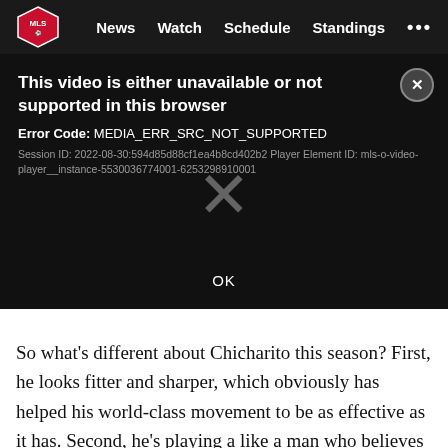[Figure (screenshot): MLS website navigation bar with logo and links: News, Watch, Schedule, Standings, and more (...)]
[Figure (screenshot): Video player error dialog on black background. Title: 'This video is either unavailable or not supported in this browser'. Error Code: MEDIA_ERR_SRC_NOT_SUPPORTED. Session ID: 2022-08-30:594d85d88cf1ea4b8cd402b2 Player Element ID: mls-o-video-player__instance-5530036774001-6253298910001. Large X in center. OK button at bottom.]
So what’s different about Chicharito this season? First, he looks fitter and sharper, which obviously has helped his world-class movement to be as effective as it has. Second, he’s playing a like a man who believes this is his team.